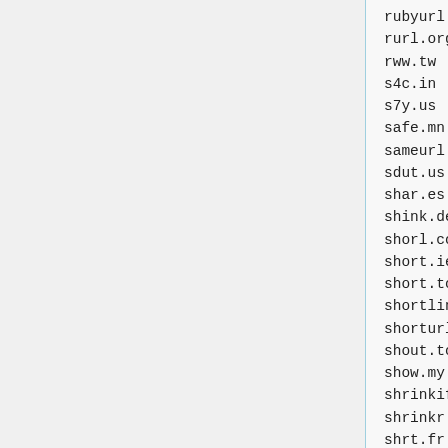rubyurl.com
rurl.org
rww.tw
s4c.in
s7y.us
safe.mn
sameurl.com
sdut.us
shar.es
shink.de
shorl.com
short.ie
short.to
shortlinks.co.uk
shorturl.com
shout.to
show.my
shrinkify.com
shrinkr.com
shrt.fr
shrt.st
shrten.com
shrunkin.com
simurl.com
slate.me